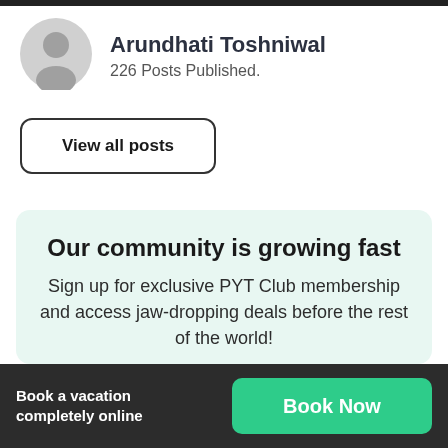[Figure (illustration): User profile avatar — grey circular person silhouette icon]
Arundhati Toshniwal
226 Posts Published.
View all posts
Our community is growing fast
Sign up for exclusive PYT Club membership and access jaw-dropping deals before the rest of the world!
Book a vacation completely online  Book Now